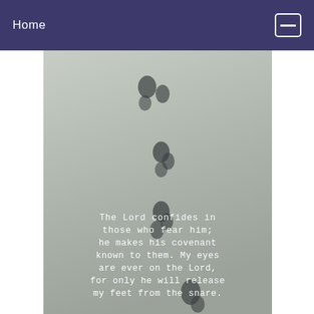Home
[Figure (photo): Black and white photo of footprints in sand with a Bible verse overlaid: 'The Lord confides in those who fear him; he makes his covenant known to them. My eyes are ever on the Lord, for only he will release my feet from the snare.' Psalm 25:14-15]
The Lord confides in those who fear him; he makes his covenant known to them. My eyes are ever on the Lord, for only he will release my feet from the snare.